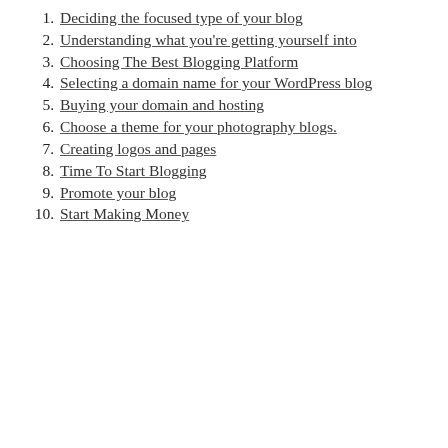1. Deciding the focused type of your blog
2. Understanding what you're getting yourself into
3. Choosing The Best Blogging Platform
4. Selecting a domain name for your WordPress blog
5. Buying your domain and hosting
6. Choose a theme for your photography blogs.
7. Creating logos and pages
8. Time To Start Blogging
9. Promote your blog
10. Start Making Money